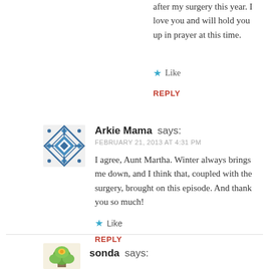after my surgery this year. I love you and will hold you up in prayer at this time.
★ Like
REPLY
Arkie Mama says:
FEBRUARY 21, 2013 AT 4:31 PM
I agree, Aunt Martha. Winter always brings me down, and I think that, coupled with the surgery, brought on this episode. And thank you so much!
★ Like
REPLY
sonda says: